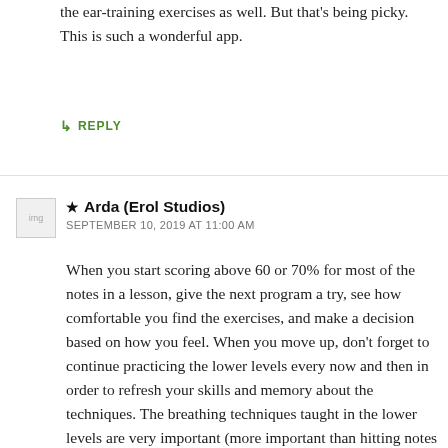the ear-training exercises as well. But that's being picky. This is such a wonderful app.
↳ REPLY
★ Arda (Erol Studios)
SEPTEMBER 10, 2019 AT 11:00 AM
When you start scoring above 60 or 70% for most of the notes in a lesson, give the next program a try, see how comfortable you find the exercises, and make a decision based on how you feel. When you move up, don't forget to continue practicing the lower levels every now and then in order to refresh your skills and memory about the techniques. The breathing techniques taught in the lower levels are very important (more important than hitting notes with perfect accuracy), so always pay close attention to them and use the techniques you've learned in those in the higher level programs too. One